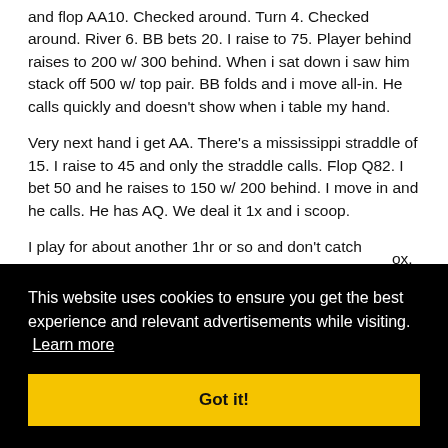and flop AA10. Checked around. Turn 4. Checked around. River 6. BB bets 20. I raise to 75. Player behind raises to 200 w/ 300 behind. When i sat down i saw him stack off 500 w/ top pair. BB folds and i move all-in. He calls quickly and doesn't show when i table my hand.
Very next hand i get AA. There's a mississippi straddle of 15. I raise to 45 and only the straddle calls. Flop Q82. I bet 50 and he raises to 150 w/ 200 behind. I move in and he calls. He has AQ. We deal it 1x and i scoop.
I play for about another 1hr or so and don't catch anything to talk about. I then get moved to the main game where ...ox.
...nd i ...out ...00 . I
[Figure (other): Cookie consent overlay with black background. Text: 'This website uses cookies to ensure you get the best experience and relevant advertisements while visiting. Learn more' with a yellow 'Got it!' button.]
Crazy mike (A.T.C) has straddled $40. I call w/ J10 and 2